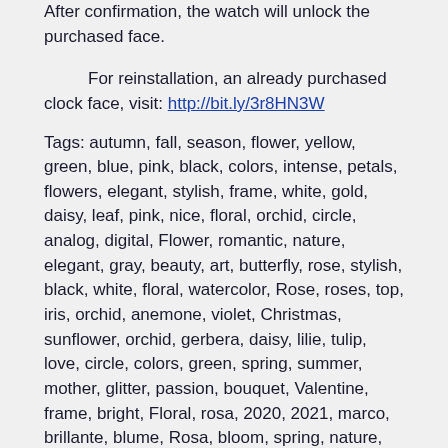After confirmation, the watch will unlock the purchased face.
For reinstallation, an already purchased clock face, visit: http://bit.ly/3r8HN3W
Tags: autumn, fall, season, flower, yellow, green, blue, pink, black, colors, intense, petals, flowers, elegant, stylish, frame, white, gold, daisy, leaf, pink, nice, floral, orchid, circle, analog, digital, Flower, romantic, nature, elegant, gray, beauty, art, butterfly, rose, stylish, black, white, floral, watercolor, Rose, roses, top, iris, orchid, anemone, violet, Christmas, sunflower, orchid, gerbera, daisy, lilie, tulip, love, circle, colors, green, spring, summer, mother, glitter, passion, bouquet, Valentine, frame, bright, Floral, rosa, 2020, 2021, marco, brillante, blume, Rosa, bloom, spring, nature, cloros, birds, fruits.